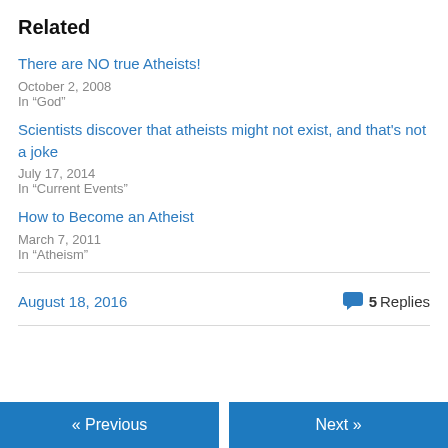Related
There are NO true Atheists!
October 2, 2008
In "God"
Scientists discover that atheists might not exist, and that's not a joke
July 17, 2014
In "Current Events"
How to Become an Atheist
March 7, 2011
In "Atheism"
August 18, 2016
5 Replies
« Previous
Next »